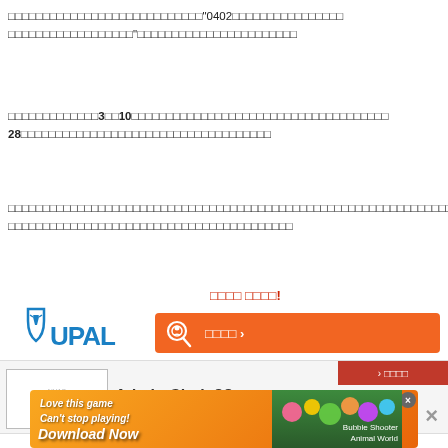「0402」
3　10　28
找工作 好簡單!
[Figure (logo): UPAL logo with shield icon and blue wordmark]
[Figure (screenshot): Orange search button with magnifier icon and Chinese text]
[Figure (screenshot): Job listing banner showing Admin Clerk ?? position at Creative / craftener company with red label and close button]
[Figure (screenshot): Download Now advertisement banner with colorful game graphics]